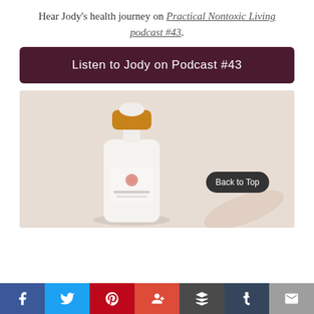Hear Jody's health journey on Practical Nontoxic Living podcast #43.
[Figure (other): Dark maroon button/banner with white text: Listen to Jody on Podcast #43]
[Figure (photo): Photo of a white pump bottle with gold/amber pump top and Shiva Rose branding on a beige background, with a Back to Top button overlay]
[Figure (other): Social share bar with Facebook, Twitter, Pinterest, Google+, Buffer, Tumblr, and Email icons]